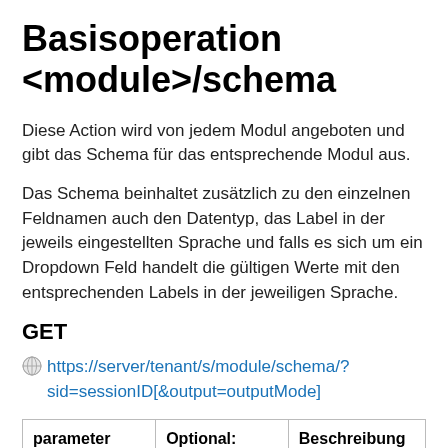Basisoperation <module>/schema
Diese Action wird von jedem Modul angeboten und gibt das Schema für das entsprechende Modul aus.
Das Schema beinhaltet zusätzlich zu den einzelnen Feldnamen auch den Datentyp, das Label in der jeweils eingestellten Sprache und falls es sich um ein Dropdown Feld handelt die gültigen Werte mit den entsprechenden Labels in der jeweiligen Sprache.
GET
https://server/tenant/s/module/schema/?sid=sessionID[&output=outputMode]
| parameter | Optional:
Standard | Beschreibung |
| --- | --- | --- |